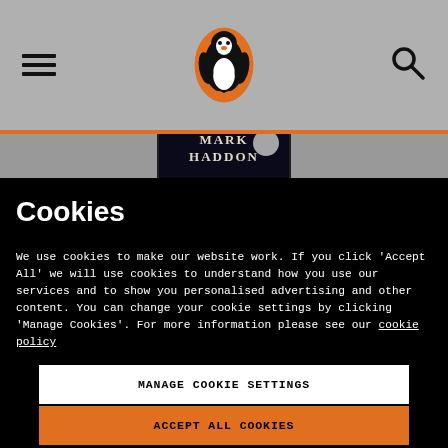[Figure (screenshot): Penguin Books website header with hamburger menu on left, Penguin logo (orange oval with penguin) in center, and search icon on right, on a gray background with an orange horizontal bar below]
[Figure (photo): Partial view of Mark Haddon book cover with author name visible on dark background]
Cookies
We use cookies to make our website work. If you click 'Accept All' we will use cookies to understand how you use our services and to show you personalised advertising and other content. You can change your cookie settings by clicking 'Manage Cookies'. For more information please see our cookie policy
MANAGE COOKIE SETTINGS
ACCEPT ALL COOKIES